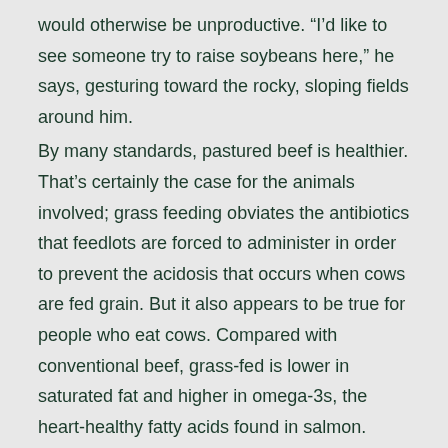would otherwise be unproductive. “I’d like to see someone try to raise soybeans here,” he says, gesturing toward the rocky, sloping fields around him.
By many standards, pastured beef is healthier. That’s certainly the case for the animals involved; grass feeding obviates the antibiotics that feedlots are forced to administer in order to prevent the acidosis that occurs when cows are fed grain. But it also appears to be true for people who eat cows. Compared with conventional beef, grass-fed is lower in saturated fat and higher in omega-3s, the heart-healthy fatty acids found in salmon.
But not everyone is sold on its superiority. In addition to citing grass-fed meat’s higher price tag – Shinn’s ground beef ends up retailing for about $7 a pound, more than twice the price of conventional beef – feedlot producers say that only through their economies of scale can the industry produce enough meat to satisfy